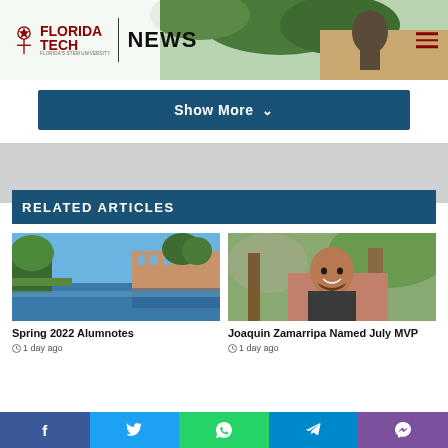FLORIDA TECH NEWS
[Figure (photo): Campus statue and tree background hero image]
Show More ▾
RELATED ARTICLES
[Figure (photo): Florida Tech campus with water reflection and blue sky]
Spring 2022 Alumnotes
1 day ago
[Figure (photo): Joaquin Zamarripa smiling portrait outdoors]
Joaquin Zamarripa Named July MVP
1 day ago
Social share bar: Facebook, Twitter, WhatsApp, Telegram, Viber